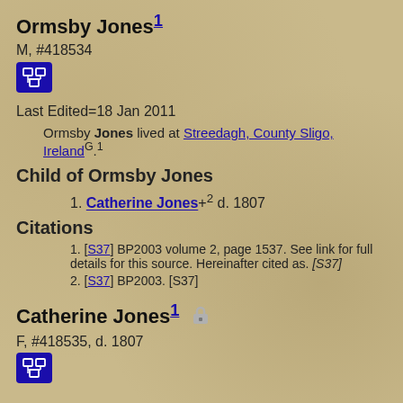Ormsby Jones1
M, #418534
[Figure (other): Blue family tree / pedigree icon button]
Last Edited=18 Jan 2011
Ormsby Jones lived at Streedagh, County Sligo, IrelandG.1
Child of Ormsby Jones
1. Catherine Jones+2 d. 1807
Citations
1. [S37] BP2003 volume 2, page 1537. See link for full details for this source. Hereinafter cited as. [S37]
2. [S37] BP2003. [S37]
Catherine Jones1
F, #418535, d. 1807
[Figure (other): Blue family tree / pedigree icon button]